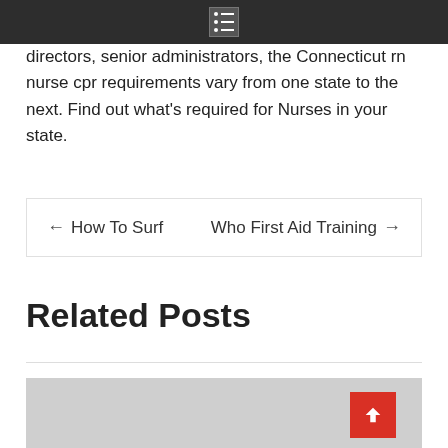Menu
directors, senior administrators, the Connecticut rn nurse cpr requirements vary from one state to the next. Find out what's required for Nurses in your state.
← How To Surf   Who First Aid Training →
Related Posts
[Figure (photo): Gray placeholder image for a related post thumbnail]